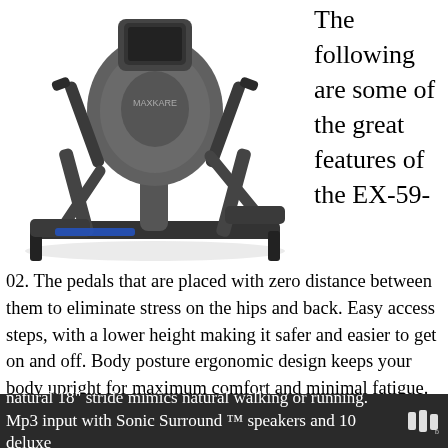[Figure (photo): An elliptical cross-trainer exercise machine (model EX-59-02), dark grey/black color, shown from a side-front angle on a white background.]
The following are some of the great features of the EX-59-
02. The pedals that are placed with zero distance between them to eliminate stress on the hips and back. Easy access steps, with a lower height making it safer and easier to get on and off. Body posture ergonomic design keeps your body upright for maximum comfort and minimal fatigue. The optimal handlebar spacing will accommodate all sizes of users. A
natural 18" stride mimics natural walking or running. Mp3 input with Sonic Surround ™ speakers and 10 deluxe